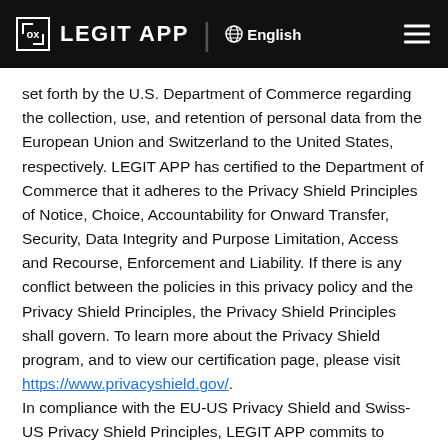LEGIT APP | English
set forth by the U.S. Department of Commerce regarding the collection, use, and retention of personal data from the European Union and Switzerland to the United States, respectively. LEGIT APP has certified to the Department of Commerce that it adheres to the Privacy Shield Principles of Notice, Choice, Accountability for Onward Transfer, Security, Data Integrity and Purpose Limitation, Access and Recourse, Enforcement and Liability. If there is any conflict between the policies in this privacy policy and the Privacy Shield Principles, the Privacy Shield Principles shall govern. To learn more about the Privacy Shield program, and to view our certification page, please visit https://www.privacyshield.gov/. In compliance with the EU-US Privacy Shield and Swiss-US Privacy Shield Principles, LEGIT APP commits to resolve complaints about your privacy and our collection or use of your personal data. European Union or Swiss citizens with inquiries or complaints regarding this privacy policy should